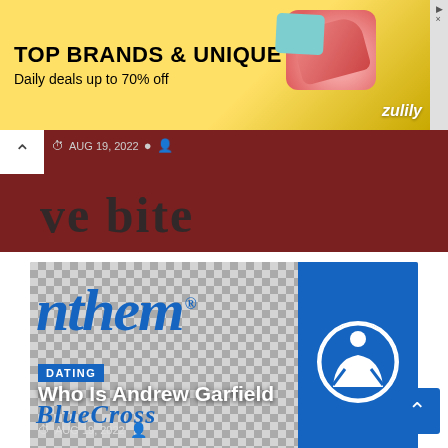[Figure (screenshot): Zulily advertisement banner: yellow background with 'TOP BRANDS & UNIQUE FINDS' and 'Daily deals up to 70% off' text, with shoe and bag product images and Zulily logo]
[Figure (screenshot): Truncated article image with dark red background and partial large text 'ove bite', date AUG 19, 2022]
[Figure (screenshot): Article card showing Anthem BlueCross logo on checkered background with blue cross symbol on right, DATING category tag, article title 'Who Is Andrew Garfield', date AUG 19 2022]
[Figure (screenshot): Bottom article card with dark/black background, partially visible]